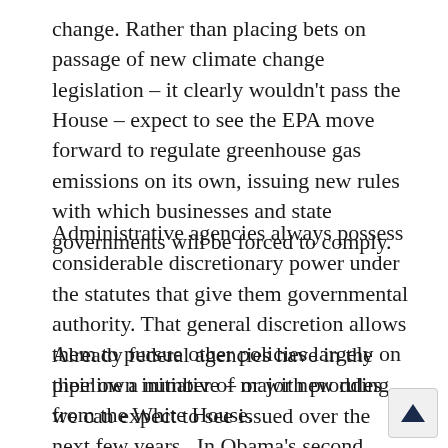change. Rather than placing bets on passage of new climate change legislation – it clearly wouldn't pass the House – expect to see the EPA move forward to regulate greenhouse gas emissions on its own, issuing new rules with which businesses and state governments will be forced to comply.
Administrative agencies always possess considerable discretionary power under the statutes that give them governmental authority. That general discretion allows them to pursue other policies largely on their own initiative – or with prodding from the White House.
Already federal agencies have in the pipeline a number of major new rules we can expect to see issued over the next few years.  In Obama's second term, look for revisions to federal smog standards, the adoption of